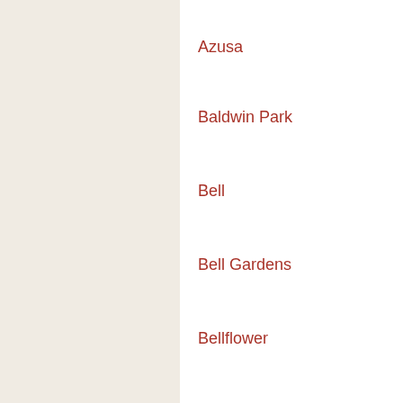Azusa
Baldwin Park
Bell
Bell Gardens
Bellflower
Beverly Hills
Bradbury
Burbank
Calabasas
Carson
Cerritos
Claremont
Commerce